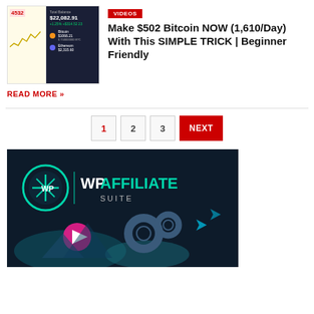[Figure (screenshot): Crypto portfolio app screenshot showing balance $22,082.91 with Bitcoin and Ethereum holdings, alongside a chart with value 4532]
VIDEOS
Make $502 Bitcoin NOW (1,610/Day) With This SIMPLE TRICK | Beginner Friendly
READ MORE »
1  2  3  NEXT
[Figure (logo): WPAffiliate Suite advertisement banner with dark background, teal/green logo and gear icons]